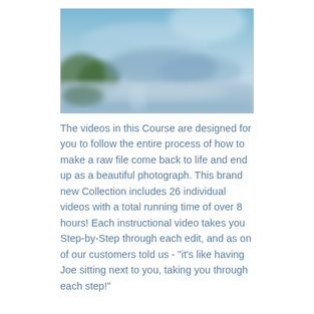[Figure (photo): A blurred landscape photo showing a blue sky, misty mountains or clouds, green trees, and a reflective water surface.]
The videos in this Course are designed for you to follow the entire process of how to make a raw file come back to life and end up as a beautiful photograph. This brand new Collection includes 26 individual videos with a total running time of over 8 hours! Each instructional video takes you Step-by-Step through each edit, and as on of our customers told us - "it's like having Joe sitting next to you, taking you through each step!"